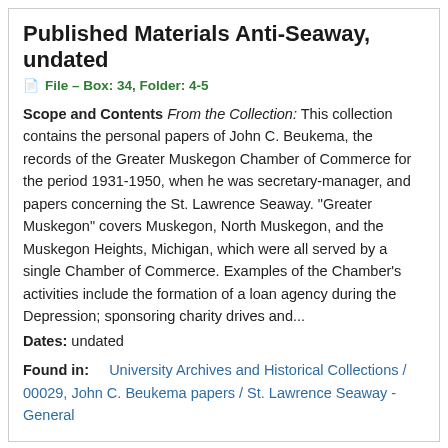Published Materials Anti-Seaway, undated
File – Box: 34, Folder: 4-5
Scope and Contents From the Collection: This collection contains the personal papers of John C. Beukema, the records of the Greater Muskegon Chamber of Commerce for the period 1931-1950, when he was secretary-manager, and papers concerning the St. Lawrence Seaway. "Greater Muskegon" covers Muskegon, North Muskegon, and the Muskegon Heights, Michigan, which were all served by a single Chamber of Commerce. Examples of the Chamber's activities include the formation of a loan agency during the Depression; sponsoring charity drives and...
Dates: undated
Found in:   University Archives and Historical Collections / 00029, John C. Beukema papers / St. Lawrence Seaway - General
Published Materials Magazine Articles, 1960